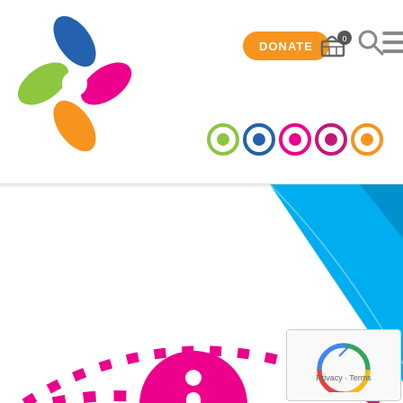[Figure (screenshot): Website screenshot showing a colorful flower logo, a DONATE button, shopping basket with 0, search icon, menu icon, and five colored circular icons in a navigation bar. Below is a blue geometric folded ribbon shape, a pink circle with an info 'i' icon, dotted pink circular path, 'Share this article' text, and social media icons for Facebook, Twitter, LinkedIn, and Email. A CAPTCHA widget appears bottom right.]